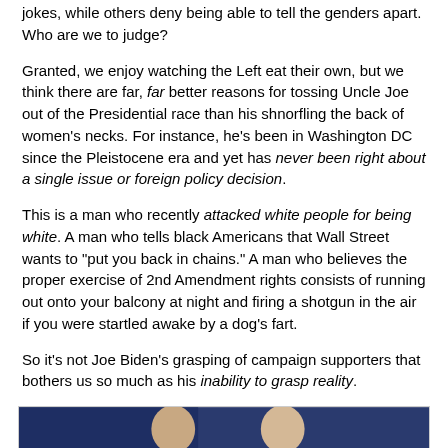jokes, while others deny being able to tell the genders apart. Who are we to judge?
Granted, we enjoy watching the Left eat their own, but we think there are far, far better reasons for tossing Uncle Joe out of the Presidential race than his shnorfling the back of women's necks. For instance, he's been in Washington DC since the Pleistocene era and yet has never been right about a single issue or foreign policy decision.
This is a man who recently attacked white people for being white. A man who tells black Americans that Wall Street wants to "put you back in chains." A man who believes the proper exercise of 2nd Amendment rights consists of running out onto your balcony at night and firing a shotgun in the air if you were startled awake by a dog's fart.
So it's not Joe Biden's grasping of campaign supporters that bothers us so much as his inability to grasp reality.
[Figure (photo): Two men in suits posing together in front of what appears to be American flags]